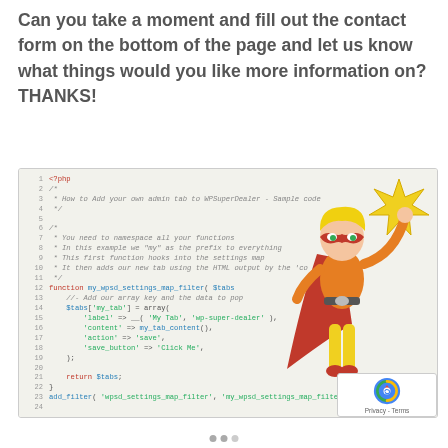Can you take a moment and fill out the contact form on the bottom of the page and let us know what things would you like more information on? THANKS!
[Figure (screenshot): Screenshot of PHP code showing how to add a custom admin tab to WPSuperDealer, with a cartoon superheroine character overlaid on the right side of the image. Lines 1-24 of PHP code are shown with line numbers.]